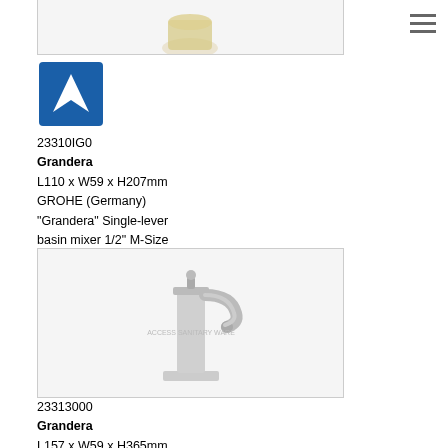[Figure (photo): Partial top view of a chrome basin faucet (Grandera M-Size), cut off at top of page]
[Figure (logo): GROHE logo - blue square with white wave/checkmark symbol]
23310IG0
Grandera
L110 x W59 x H207mm
GROHE (Germany)
"Grandera" Single-lever basin mixer 1/2" M-Size
[Figure (photo): Chrome Grandera single-lever free stand basin mixer XL-Size, tall column design with curved spout]
23313000
Grandera
L157 x W59 x H365mm
GROHE (Germany)
"Grandera" Single-lever free stand basin mixer 1/2" XL-Size